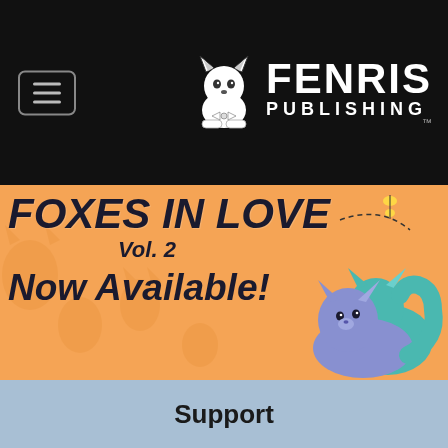Fenris Publishing
[Figure (illustration): Fenris Publishing logo with stylized wolf/cat mascot and company name in white text on black background, plus hamburger menu button]
[Figure (illustration): Orange banner reading 'FOXES IN LOVE Vol. 2 NOW AVAILABLE!' with cartoon foxes illustration]
Support
I'm having trouble downloading or opening a PDF, what do I do?
We have an automated system for processing PDF